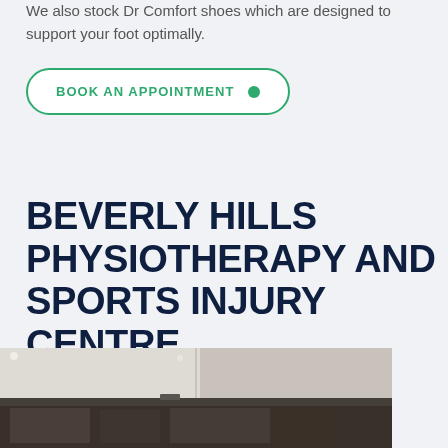We also stock Dr Comfort shoes which are designed to support your foot optimally.
BOOK AN APPOINTMENT
BEVERLY HILLS PHYSIOTHERAPY AND SPORTS INJURY CENTRE
[Figure (photo): Interior photo of physiotherapy centre showing ceiling lights and gym equipment]